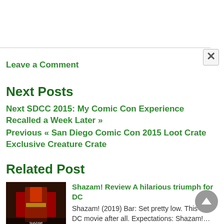Leave a Comment
Next Posts
Next SDCC 2015: My Comic Con Experience Recalled a Week Later »
Previous « San Diego Comic Con 2015 Loot Crate Exclusive Creature Crate
Related Post
[Figure (photo): Movie poster thumbnail for Shazam! (2019) showing superhero in red costume]
Shazam! Review A hilarious triumph for DC
Shazam! (2019) Bar: Set pretty low. This is a DC movie after all. Expectations: Shazam!...